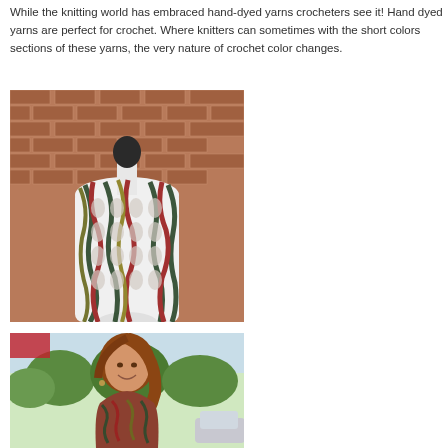While the knitting world has embraced hand-dyed yarns crocheters see it! Hand dyed yarns are perfect for crochet. Where knitters can sometimes with the short colors sections of these yarns, the very nature of crochet color changes.
[Figure (photo): A crocheted lattice cowl/scarf in multi-colored hand-dyed yarn (dark green, red, olive, gold) displayed on a white dress form mannequin against a brick wall background.]
[Figure (photo): A smiling woman with reddish-brown hair wearing a colorful crocheted item, photographed outdoors with green trees in the background.]